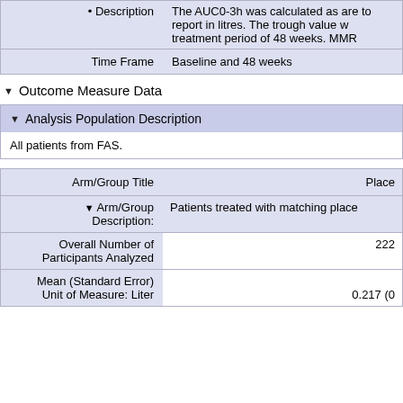| Field | Value |
| --- | --- |
| Description | The AUC0-3h was calculated as are... to report in litres. The trough value w... treatment period of 48 weeks. MMR... |
| Time Frame | Baseline and 48 weeks |
▼ Outcome Measure Data
▼ Analysis Population Description
All patients from FAS.
| Field | Placebo |
| --- | --- |
| Arm/Group Title | Place... |
| ▼ Arm/Group Description: | Patients treated with matching place... |
| Overall Number of Participants Analyzed | 222 |
| Mean (Standard Error) Unit of Measure: Liter | 0.217 (0... |